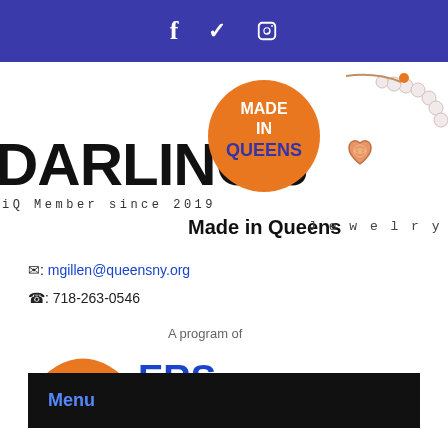Social media icons: Facebook, Twitter, Instagram
DARLING J
iQ Member since 2019
[Figure (logo): Made in Queens orange circular badge with white text MADE IN QUEENS]
[Figure (photo): Rose gold heart charm bracelet with pearl beads]
Made in Queens
Jewelry
✉: mgillen@queensny.org
☎: 718-263-0546
A program of
[Figure (logo): Partial logo at bottom, orange arc shape with blue letters visible]
Menu